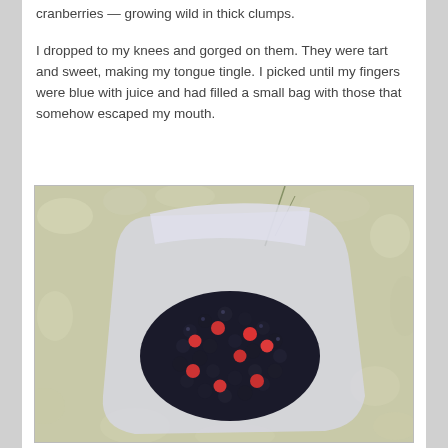cranberries — growing wild in thick clumps.
I dropped to my knees and gorged on them. They were tart and sweet, making my tongue tingle. I picked until my fingers were blue with juice and had filled a small bag with those that somehow escaped my mouth.
[Figure (photo): Aerial view of a plastic bag filled with dark blueberries and red cranberries, sitting on pale lichen-covered ground.]